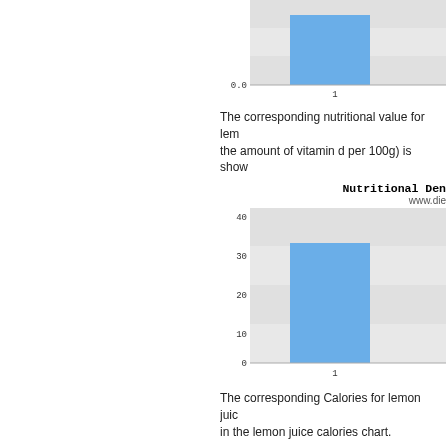[Figure (bar-chart): vitamin d chart (partial/cropped)]
The corresponding nutritional value for lemon juice (the amount of vitamin d per 100g) is shown...
[Figure (bar-chart): Nutritional Density]
The corresponding Calories for lemon juice are shown in the lemon juice calories chart.
[Figure (bar-chart): Calories]